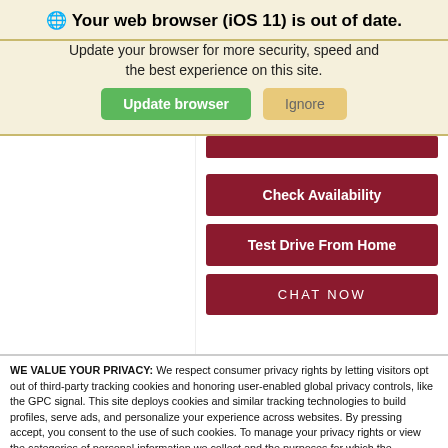🌐 Your web browser (iOS 11) is out of date.
Update your browser for more security, speed and the best experience on this site.
[Figure (screenshot): Green 'Update browser' button and tan 'Ignore' button]
[Figure (screenshot): Dark red bar at top, then Check Availability button, Test Drive From Home button, CHAT NOW button]
WE VALUE YOUR PRIVACY: We respect consumer privacy rights by letting visitors opt out of third-party tracking cookies and honoring user-enabled global privacy controls, like the GPC signal. This site deploys cookies and similar tracking technologies to build profiles, serve ads, and personalize your experience across websites. By pressing accept, you consent to the use of such cookies. To manage your privacy rights or view the categories of personal information we collect and the purposes for which the information is used, click here.
Language: English  ∨   Powered by ComplyAuto
Accept and Continue →    Privacy Policy    ×